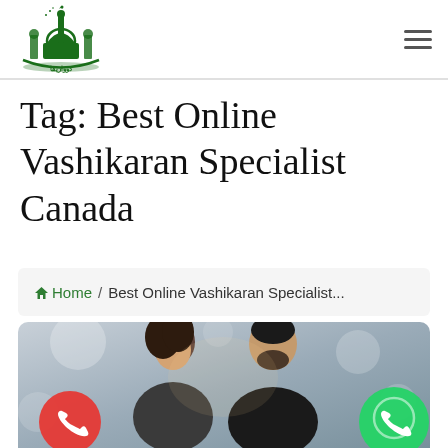[Figure (logo): Green mosque/Islamic building logo with Arabic text and crescent moon on top, in dark green color]
Tag: Best Online Vashikaran Specialist Canada
Home / Best Online Vashikaran Specialist...
[Figure (photo): A couple (woman with dark hair and man with beard) looking at each other closely, with bokeh background. Red phone call button bottom-left, green WhatsApp button bottom-right.]